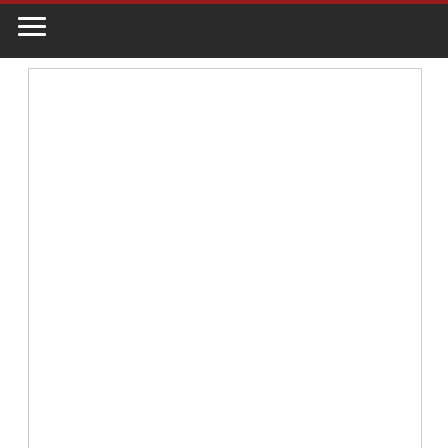Navigation bar with hamburger menu
[Figure (photo): A path leading to Hondo — white/blank image area within a bordered card]
A path leading to Hondo
[Figure (photo): Second image card with blank white area, back-to-top chevron arrow visible at bottom right]